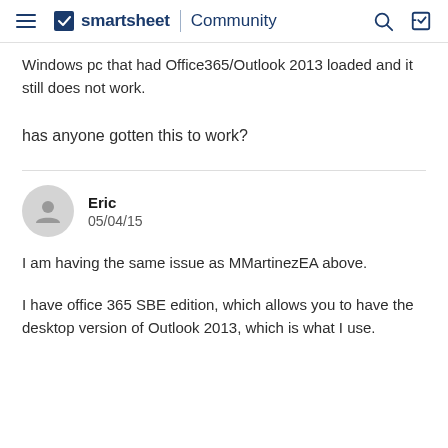smartsheet | Community
Windows pc that had Office365/Outlook 2013 loaded and it still does not work.
has anyone gotten this to work?
Eric
05/04/15
I am having the same issue as MMartinezEA above.
I have office 365 SBE edition, which allows you to have the desktop version of Outlook 2013, which is what I use.